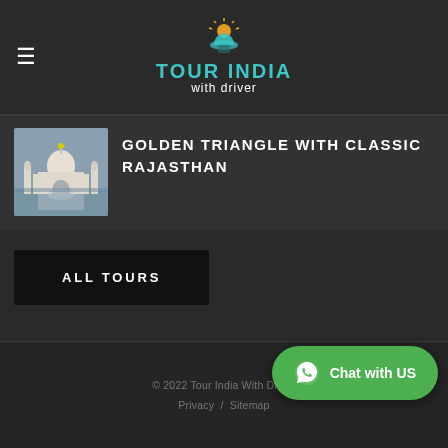Tour India with driver
GOLDEN TRIANGLE WITH CLASSIC RAJASTHAN
ALL TOURS
© 2022 Tour India With Driver   Privacy / Sitemap
Chat with US